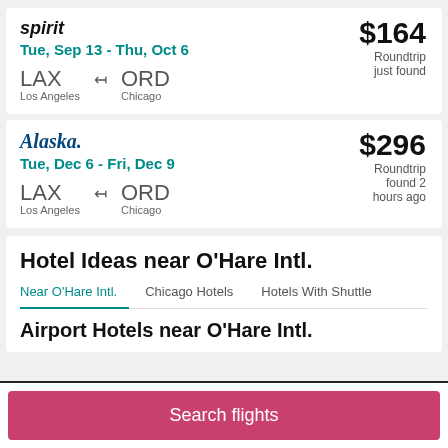spirit
Tue, Sep 13 - Thu, Oct 6
LAX Los Angeles ← ORD Chicago
$164 Roundtrip just found
Alaska
Tue, Dec 6 - Fri, Dec 9
LAX Los Angeles ← ORD Chicago
$296 Roundtrip found 2 hours ago
Hotel Ideas near O'Hare Intl.
Near O'Hare Intl. | Chicago Hotels | Hotels With Shuttle
Airport Hotels near O'Hare Intl.
Search flights